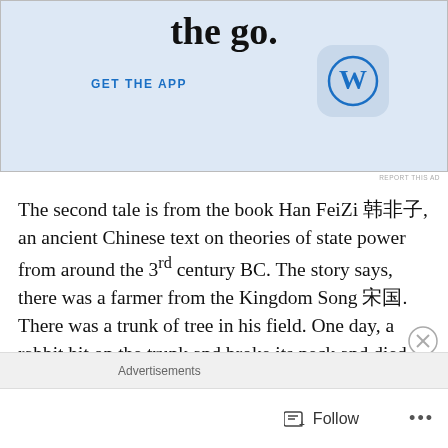[Figure (illustration): WordPress app advertisement banner with 'the go.' large text, 'GET THE APP' button in blue, and WordPress circular logo icon on light blue background]
REPORT THIS AD
The second tale is from the book Han FeiZi 韩非子, an ancient Chinese text on theories of state power from around the 3rd century BC. The story says, there was a farmer from the Kingdom Song 宋国. There was a trunk of tree in his field. One day, a rabbit hit on the trunk and broke its neck and died. Maybe the rabbit was running really fast and didn't see the trunk.
Advertisements
Follow ...